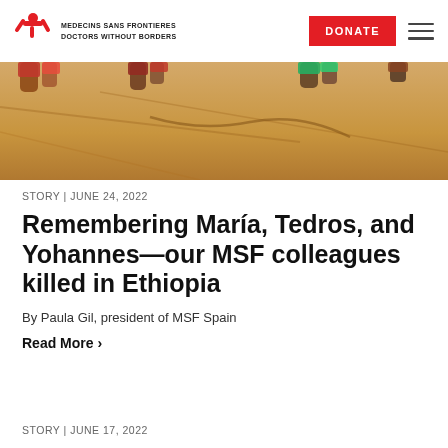MEDECINS SANS FRONTIERES DOCTORS WITHOUT BORDERS | DONATE
[Figure (photo): Aerial view of people standing on dry brown earth, showing only their feet and lower legs, wearing colorful clothing]
STORY | JUNE 24, 2022
Remembering María, Tedros, and Yohannes—our MSF colleagues killed in Ethiopia
By Paula Gil, president of MSF Spain
Read More >
STORY | JUNE 17, 2022